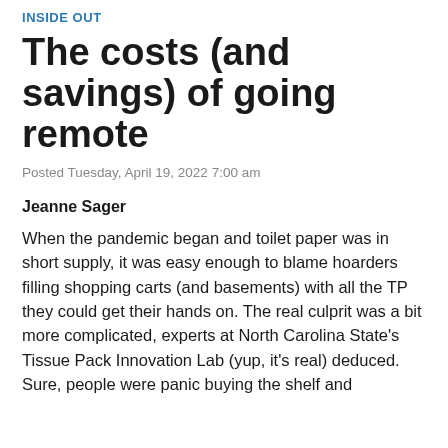INSIDE OUT
The costs (and savings) of going remote
Posted Tuesday, April 19, 2022 7:00 am
Jeanne Sager
When the pandemic began and toilet paper was in short supply, it was easy enough to blame hoarders filling shopping carts (and basements) with all the TP they could get their hands on. The real culprit was a bit more complicated, experts at North Carolina State's Tissue Pack Innovation Lab (yup, it's real) deduced. Sure, people were panic buying the shelf and